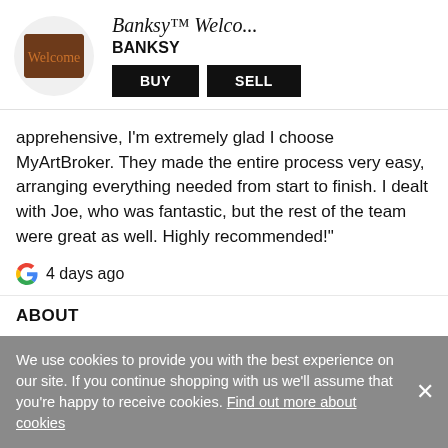[Figure (illustration): Circular thumbnail showing a brown doormat with 'Welcome' text in cursive, next to artist name and buy/sell buttons]
Banksy™ Welco...
BANKSY
BUY   SELL
apprehensive, I'm extremely glad I choose MyArtBroker. They made the entire process very easy, arranging everything needed from start to finish. I dealt with Joe, who was fantastic, but the rest of the team were great as well. Highly recommended!"
4 days ago
ABOUT
How it works
The team
Buy
Giving back
We use cookies to provide you with the best experience on our site. If you continue shopping with us we'll assume that you're happy to receive cookies. Find out more about cookies